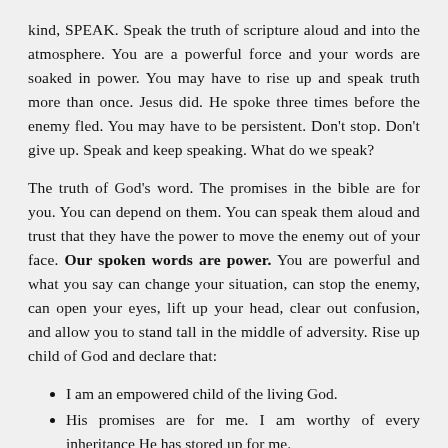kind, SPEAK. Speak the truth of scripture aloud and into the atmosphere. You are a powerful force and your words are soaked in power. You may have to rise up and speak truth more than once. Jesus did. He spoke three times before the enemy fled. You may have to be persistent. Don’t stop. Don’t give up. Speak and keep speaking. What do we speak?
The truth of God’s word. The promises in the bible are for you. You can depend on them. You can speak them aloud and trust that they have the power to move the enemy out of your face. Our spoken words are power. You are powerful and what you say can change your situation, can stop the enemy, can open your eyes, lift up your head, clear out confusion, and allow you to stand tall in the middle of adversity. Rise up child of God and declare that:
I am an empowered child of the living God.
His promises are for me. I am worthy of every inheritance He has stored up for me.